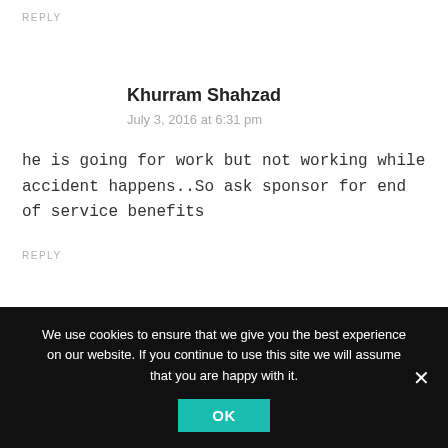REPLY
Khurram Shahzad
July 3, 2016 at 6:31 pm
he is going for work but not working while accident happens..So ask sponsor for end of service benefits
REPLY
We use cookies to ensure that we give you the best experience on our website. If you continue to use this site we will assume that you are happy with it.